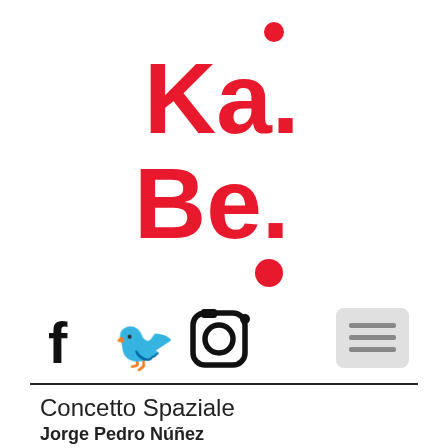[Figure (logo): Ka.Be. logo in bold red text with red dots above and below, on white background]
[Figure (infographic): Social media icons: Facebook, Twitter, Instagram, and a hamburger menu button]
Concetto Spaziale
Jorge Pedro Núñez